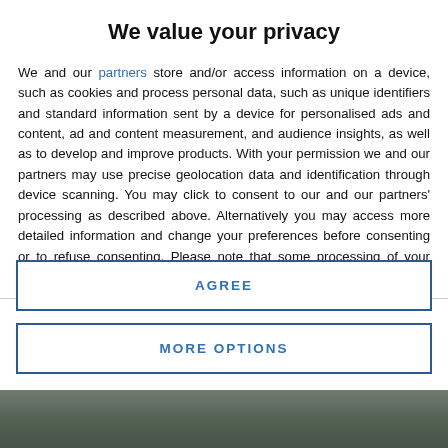We value your privacy
We and our partners store and/or access information on a device, such as cookies and process personal data, such as unique identifiers and standard information sent by a device for personalised ads and content, ad and content measurement, and audience insights, as well as to develop and improve products. With your permission we and our partners may use precise geolocation data and identification through device scanning. You may click to consent to our and our partners' processing as described above. Alternatively you may access more detailed information and change your preferences before consenting or to refuse consenting. Please note that some processing of your personal data may not require your consent, but you have a right to
AGREE
MORE OPTIONS
[Figure (photo): Partially visible photo strip at bottom of page]